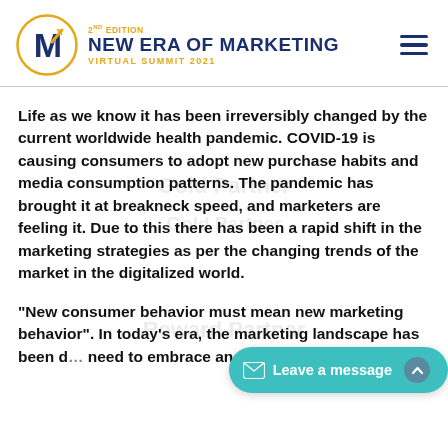2nd EDITION NEW ERA OF MARKETING VIRTUAL SUMMIT 2021
Life as we know it has been irreversibly changed by the current worldwide health pandemic. COVID-19 is causing consumers to adopt new purchase habits and media consumption patterns. The pandemic has brought it at breakneck speed, and marketers are feeling it. Due to this there has been a rapid shift in the marketing strategies as per the changing trends of the market in the digitalized world.
“New consumer behavior must mean new marketing behavior”. In today’s era, the marketing landscape has been d… need to embrace ano…